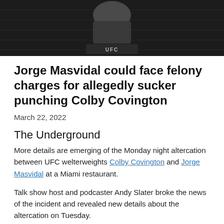[Figure (photo): UFC fighter torso photo, dark background with chain-link fence, UFC logo visible on shorts waistband]
Jorge Masvidal could face felony charges for allegedly sucker punching Colby Covington
March 22, 2022
The Underground
More details are emerging of the Monday night altercation between UFC welterweights Colby Covington and Jorge Masvidal at a Miami restaurant.
Talk show host and podcaster Andy Slater broke the news of the incident and revealed new details about the altercation on Tuesday.